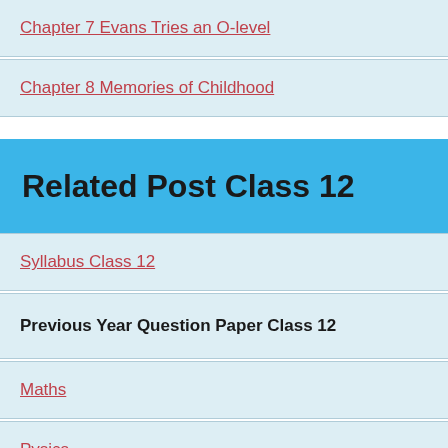Chapter 7 Evans Tries an O-level
Chapter 8 Memories of Childhood
Related Post Class 12
Syllabus Class 12
Previous Year Question Paper Class 12
Maths
Pysics